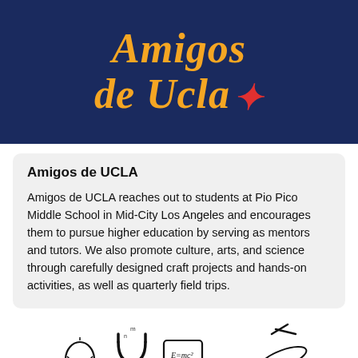[Figure (illustration): Dark navy blue banner with 'Amigos de Ucla' text in large gold italic serif font, with a small red decorative element top right]
Amigos de UCLA
Amigos de UCLA reaches out to students at Pio Pico Middle School in Mid-City Los Angeles and encourages them to pursue higher education by serving as mentors and tutors. We also promote culture, arts, and science through carefully designed craft projects and hands-on activities, as well as quarterly field trips.
[Figure (illustration): Science and education themed icons: lightbulb, magnet, computer/chalkboard with E=mc2, planet/Saturn, graduation cap, with binary code text 101010 010101 below some icons]